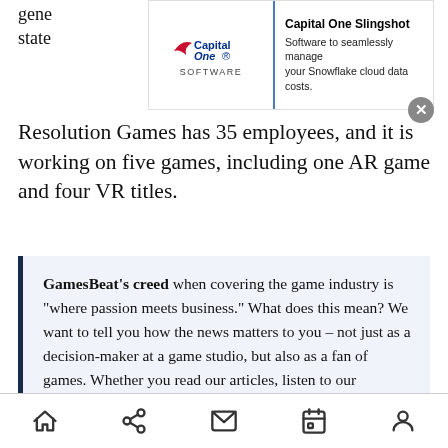gene... state...
[Figure (screenshot): Capital One Slingshot advertisement banner. Logo on left reads 'CapitalOne Software'. Text on right: 'Capital One Slingshot - Software to seamlessly manage your Snowflake cloud data costs.' with a close (X) button.]
Resolution Games has 35 employees, and it is working on five games, including one AR game and four VR titles.
GamesBeat's creed when covering the game industry is "where passion meets business." What does this mean? We want to tell you how the news matters to you – not just as a decision-maker at a game studio, but also as a fan of games. Whether you read our articles, listen to our podcasts, or watch our videos, GamesBeat will help you learn about the industry and enjoy engaging with it.
Navigation bar with home, share, mail, calendar, and profile icons